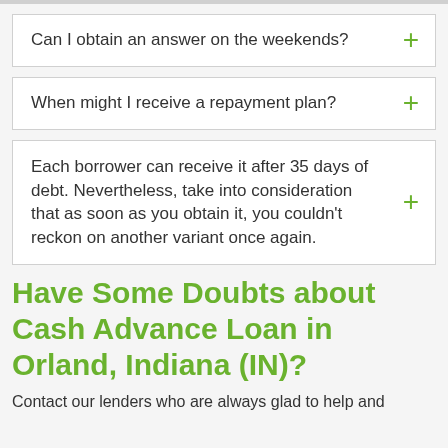Can I obtain an answer on the weekends?
When might I receive a repayment plan?
Each borrower can receive it after 35 days of debt. Nevertheless, take into consideration that as soon as you obtain it, you couldn't reckon on another variant once again.
Have Some Doubts about Cash Advance Loan in Orland, Indiana (IN)?
Contact our lenders who are always glad to help and